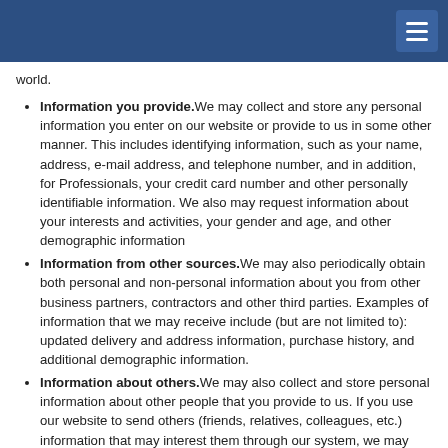world.
Information you provide. We may collect and store any personal information you enter on our website or provide to us in some other manner. This includes identifying information, such as your name, address, e-mail address, and telephone number, and in addition, for Professionals, your credit card number and other personally identifiable information. We also may request information about your interests and activities, your gender and age, and other demographic information
Information from other sources. We may also periodically obtain both personal and non-personal information about you from other business partners, contractors and other third parties. Examples of information that we may receive include (but are not limited to): updated delivery and address information, purchase history, and additional demographic information.
Information about others. We may also collect and store personal information about other people that you provide to us. If you use our website to send others (friends, relatives, colleagues, etc.) information that may interest them through our system, we may store your personal information, and the personal information of each such recipient